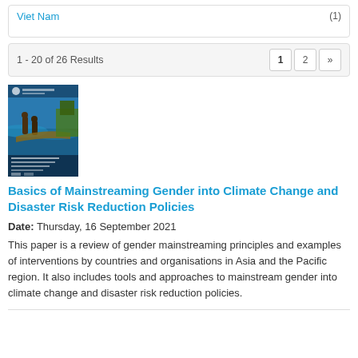Viet Nam (1)
1 - 20 of 26 Results
[Figure (photo): Book cover for 'Basics of Mainstreaming Gender into Climate Change and Disaster Risk Reduction Policies' showing people working near water]
Basics of Mainstreaming Gender into Climate Change and Disaster Risk Reduction Policies
Date: Thursday, 16 September 2021
This paper is a review of gender mainstreaming principles and examples of interventions by countries and organisations in Asia and the Pacific region. It also includes tools and approaches to mainstream gender into climate change and disaster risk reduction policies.